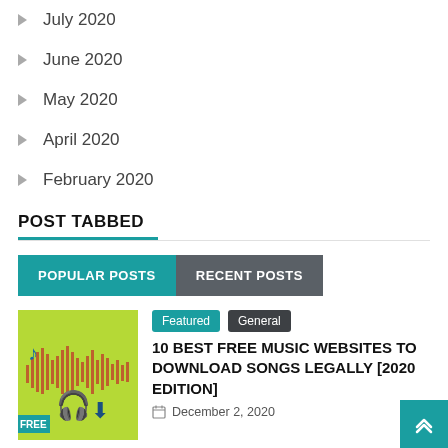July 2020
June 2020
May 2020
April 2020
February 2020
POST TABBED
POPULAR POSTS | RECENT POSTS
[Figure (illustration): Green background music download website thumbnail with sound wave, music notes, headphones, and download icons]
Featured   General
10 BEST FREE MUSIC WEBSITES TO DOWNLOAD SONGS LEGALLY [2020 EDITION]
December 2, 2020